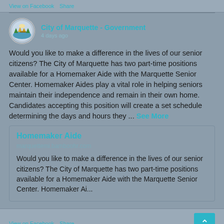View on Facebook · Share
City of Marquette - Government
4 days ago
Would you like to make a difference in the lives of our senior citizens? The City of Marquette has two part-time positions available for a Homemaker Aide with the Marquette Senior Center. Homemaker Aides play a vital role in helping seniors maintain their independence and remain in their own home. Candidates accepting this position will create a set schedule determining the days and hours they ... See More
Homemaker Aide
marquettemi.bamboohr.com
Would you like to make a difference in the lives of our senior citizens? The City of Marquette has two part-time positions available for a Homemaker Aide with the Marquette Senior Center. Homemaker Ai...
View on Facebook · Share